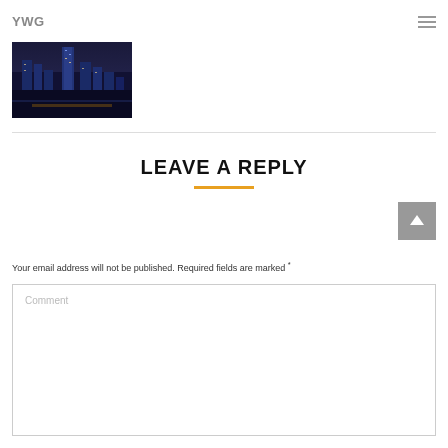YWG
[Figure (photo): Aerial night photo of a cityscape with tall illuminated skyscrapers]
LEAVE A REPLY
Your email address will not be published. Required fields are marked *
Comment